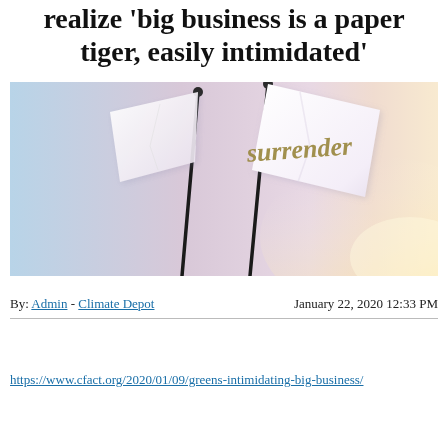realize 'big business is a paper tiger, easily intimidated'
[Figure (photo): Two white flags on black poles with the word 'surrender' written in gold/olive script on the right flag, set against a soft blue and warm glowing background suggesting surrender or capitulation.]
By: Admin - Climate Depot    January 22, 2020 12:33 PM
https://www.cfact.org/2020/01/09/greens-intimidating-big-business/